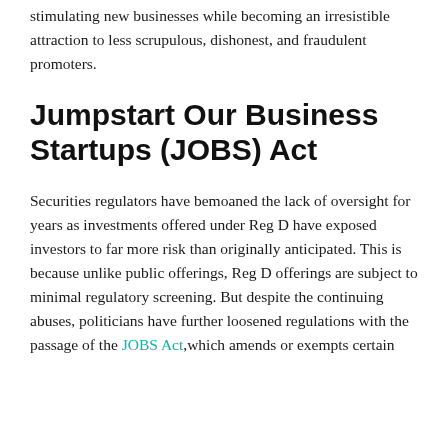stimulating new businesses while becoming an irresistible attraction to less scrupulous, dishonest, and fraudulent promoters.
Jumpstart Our Business Startups (JOBS) Act
Securities regulators have bemoaned the lack of oversight for years as investments offered under Reg D have exposed investors to far more risk than originally anticipated. This is because unlike public offerings, Reg D offerings are subject to minimal regulatory screening. But despite the continuing abuses, politicians have further loosened regulations with the passage of the JOBS Act, which amends or exempts certain